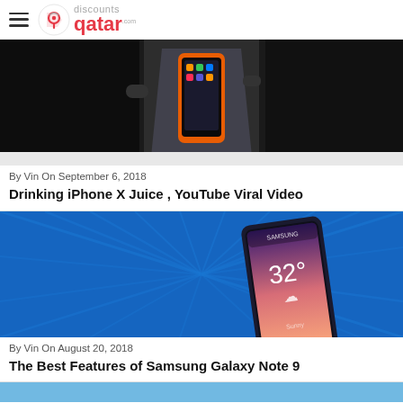discounts qatar
[Figure (photo): iPhone X blended in a blender, viral YouTube video thumbnail]
By Vin On September 6, 2018
Drinking iPhone X Juice , YouTube Viral Video
[Figure (photo): Samsung Galaxy Note 9 smartphone resting on blue fabric showing 32 degrees on screen]
By Vin On August 20, 2018
The Best Features of Samsung Galaxy Note 9
[Figure (photo): Partial view of another article image at the bottom of the page]